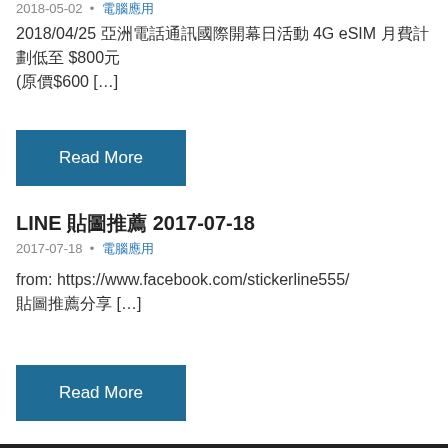2018-05-02 • 電腦應用
2018/04/25 亞洲電話通訊國際開幕日活動 4G eSIM 月費計劃低至 $800元 (原價$600 […]
Read More
LINE 貼圖推薦 2017-07-18
2017-07-18 • 電腦應用
from: https://www.facebook.com/stickerline555/ 貼圖推薦分享 […]
Read More